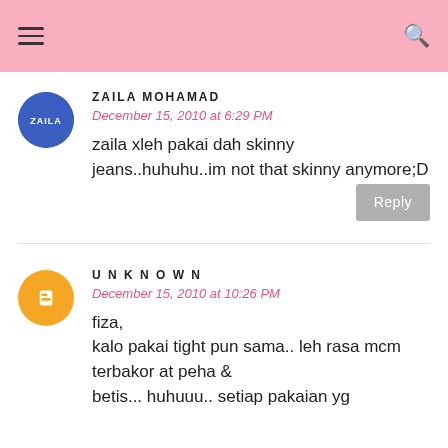ZAILA MOHAMAD
December 15, 2010 at 6:29 PM
zaila xleh pakai dah skinny jeans..huhuhu..im not that skinny anymore;D
UNKNOWN
December 15, 2010 at 10:26 PM
fiza,
kalo pakai tight pun sama.. leh rasa mcm terbakor at peha & betis... huhuuu.. setiap pakaian yg